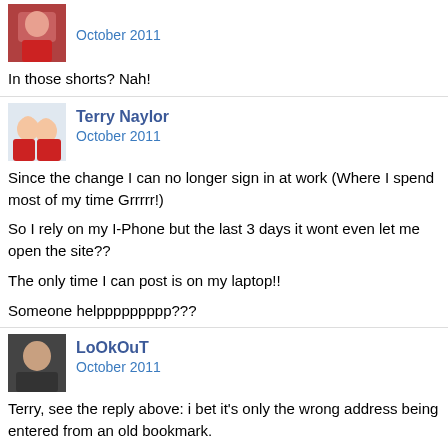[Figure (photo): Small avatar photo of a person in red clothing]
October 2011
In those shorts? Nah!
[Figure (photo): Small avatar photo of two young children smiling]
Terry Naylor
October 2011
Since the change I can no longer sign in at work (Where I spend most of my time Grrrrr!)

So I rely on my I-Phone but the last 3 days it wont even let me open the site??

The only time I can post is on my laptop!!

Someone helppppppppp???
[Figure (photo): Small avatar photo of a person]
LoOkOuT
October 2011
Terry, see the reply above: i bet it's only the wrong address being entered from an old bookmark.
Sponsored links: